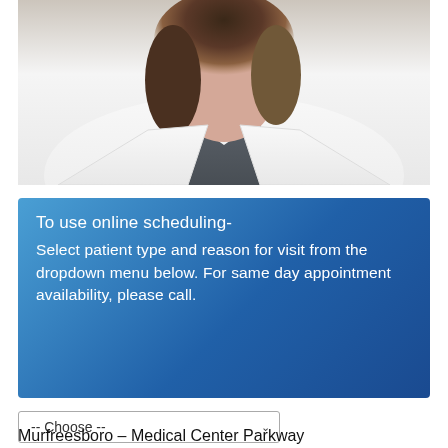[Figure (photo): Professional headshot of a female healthcare provider wearing a white lab coat over dark gray scrubs, with brown hair, against a light background.]
To use online scheduling-
Select patient type and reason for visit from the dropdown menu below. For same day appointment availability, please call.
-- Choose --
Murfreesboro – Medical Center Parkway